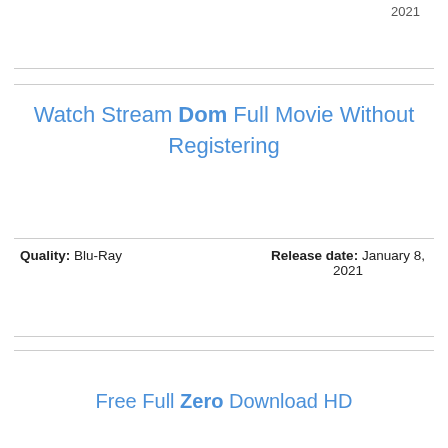2021
Watch Stream Dom Full Movie Without Registering
Quality: Blu-Ray    Release date: January 8, 2021
Free Full Zero Download HD